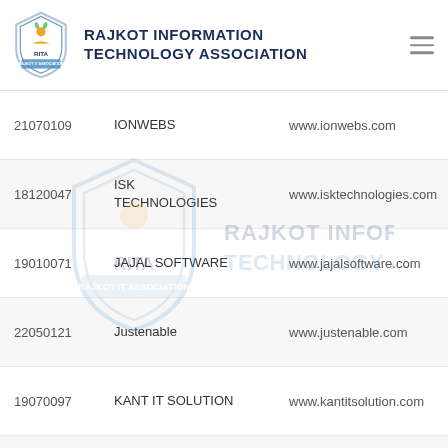[Figure (logo): RITA - Rajkot Information Technology Association shield logo with organization name]
| ID | Name | Website |
| --- | --- | --- |
| 21070109 | IONWEBS | www.ionwebs.com |
| 18120047 | ISK TECHNOLOGIES | www.isktechnologies.com |
| 19010071 | JAJAL SOFTWARE | www.jajalsoftware.com |
| 22050121 | Justenable | www.justenable.com |
| 19070097 | KANT IT SOLUTION | www.kantitsolution.com |
| 19010063 | Keshav Infotech | www.keshavinfotech.com |
| 19020086 | KOOPS Technologies LLP | www.koops.in |